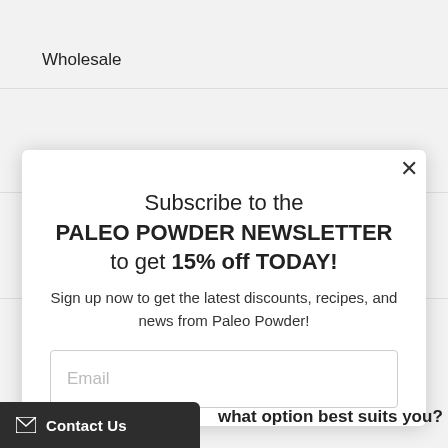Wholesale
Meal Prep Recipes
Contact Us
Subscribe to the PALEO POWDER NEWSLETTER to get 15% off TODAY!
Sign up now to get the latest discounts, recipes, and news from Paleo Powder!
Email
Contact Us
what option best suits you?